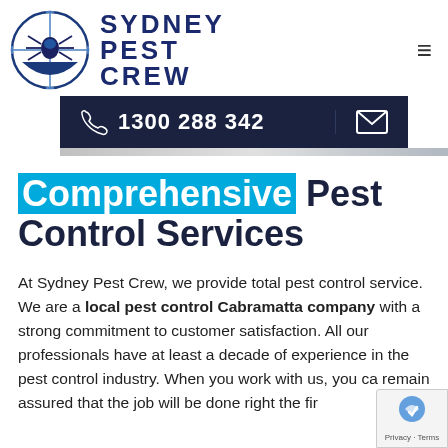[Figure (logo): Sydney Pest Crew logo: circular emblem with spider crosshair design in blue and dark navy, next to text SYDNEY PEST CREW in bold dark navy letters]
1300 288 342
Comprehensive Pest Control Services
At Sydney Pest Crew, we provide total pest control service. We are a local pest control Cabramatta company with a strong commitment to customer satisfaction. All our professionals have at least a decade of experience in the pest control industry. When you work with us, you ca remain assured that the job will be done right the fir